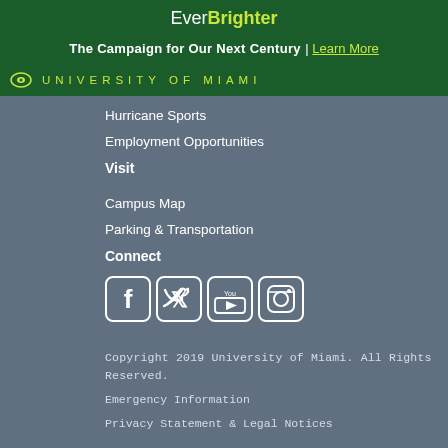EverBrighter
The Campaign for Our Next Century | Learn More
UNIVERSITY OF MIAMI
Hurricane Sports
Employment Opportunities
Visit
Campus Map
Parking & Transportation
Connect
[Figure (other): Social media icons: Facebook, Twitter, YouTube, Instagram]
Copyright 2019 University of Miami. All Rights Reserved.
Emergency Information
Privacy Statement & Legal Notices
University of Miami Powered by the Localist Community Event Platform © All rights reserved
[Figure (other): Social media icons: Twitter, Facebook, LinkedIn, Instagram, RSS]